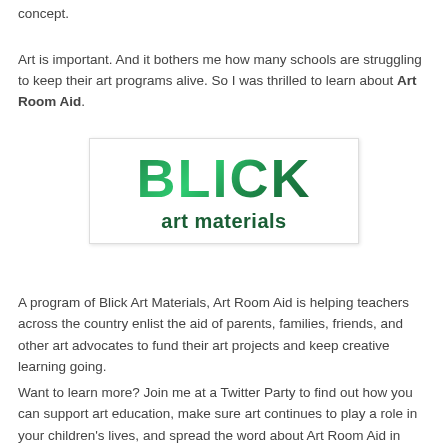concept.
Art is important. And it bothers me how many schools are struggling to keep their art programs alive. So I was thrilled to learn about Art Room Aid.
[Figure (logo): Blick Art Materials logo — large green 'BLICK' text above smaller 'art materials' text, in a white bordered box]
A program of Blick Art Materials, Art Room Aid is helping teachers across the country enlist the aid of parents, families, friends, and other art advocates to fund their art projects and keep creative learning going.
Want to learn more? Join me at a Twitter Party to find out how you can support art education, make sure art continues to play a role in your children's lives, and spread the word about Art Room Aid in your community. We'll be discussing